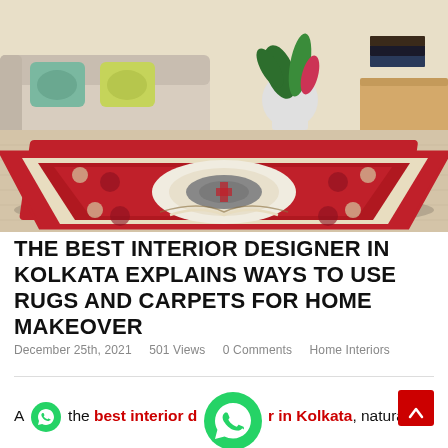[Figure (photo): A red ornate Persian-style rug with cream/white medallion center and floral border patterns, placed in a living room setting with a beige sofa with patterned cushions, a potted plant, a wooden side table with books, and light wood flooring.]
THE BEST INTERIOR DESIGNER IN KOLKATA EXPLAINS WAYS TO USE RUGS AND CARPETS FOR HOME MAKEOVER
December 25th, 2021    501 Views    0 Comments    Home Interiors
A [WhatsApp icon] the best interior designer in Kolkata, natural f[cut] jute, and fleece have many utilities, extending to home décor.